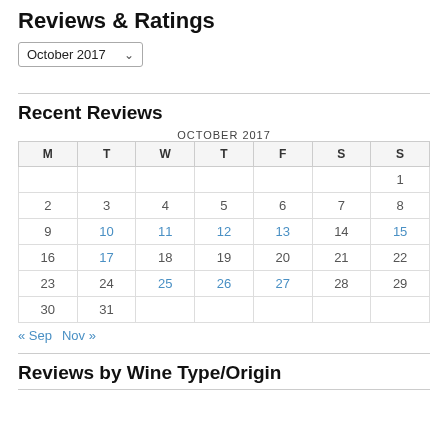Reviews & Ratings
October 2017 ▾
Recent Reviews
| M | T | W | T | F | S | S |
| --- | --- | --- | --- | --- | --- | --- |
|  |  |  |  |  |  | 1 |
| 2 | 3 | 4 | 5 | 6 | 7 | 8 |
| 9 | 10 | 11 | 12 | 13 | 14 | 15 |
| 16 | 17 | 18 | 19 | 20 | 21 | 22 |
| 23 | 24 | 25 | 26 | 27 | 28 | 29 |
| 30 | 31 |  |  |  |  |  |
« Sep   Nov »
Reviews by Wine Type/Origin